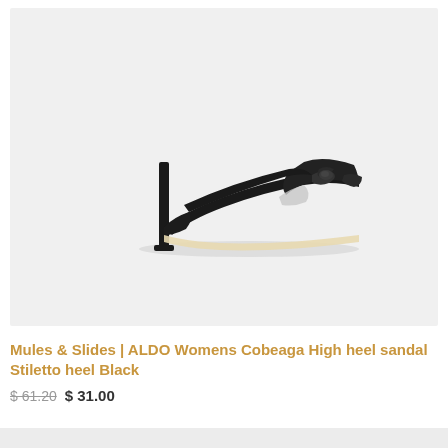[Figure (photo): Black high heel stiletto mule sandal with knotted strap detail, shown in profile view on a light grey background. ALDO Womens Cobeaga sandal.]
Mules & Slides | ALDO Womens Cobeaga High heel sandal Stiletto heel Black
$ 61.20 $ 31.00